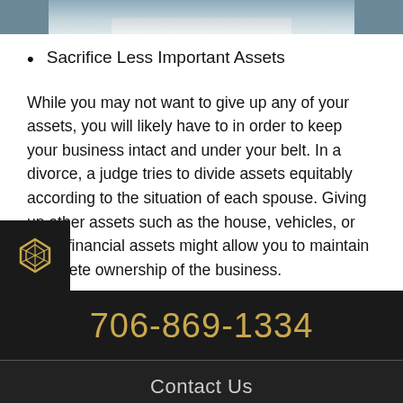[Figure (photo): Partial photo of a business-related scene, cropped at top of page]
Sacrifice Less Important Assets
While you may not want to give up any of your assets, you will likely have to in order to keep your business intact and under your belt. In a divorce, a judge tries to divide assets equitably according to the situation of each spouse. Giving up other assets such as the house, vehicles, or other financial assets might allow you to maintain complete ownership of the business.
706-869-1334
Contact Us